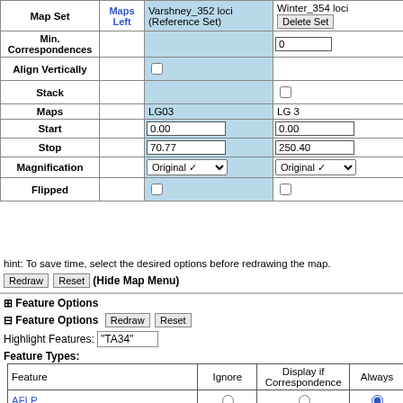| Map Set | Maps Left | Varshney_352 loci (Reference Set) | Winter_354 loci |
| --- | --- | --- | --- |
| Min. Correspondences |  |  | 0 |
| Align Vertically |  | ☐ |  |
| Stack |  |  | ☐ |
| Maps |  | LG03 | LG 3 |
| Start |  | 0.00 | 0.00 |
| Stop |  | 70.77 | 250.40 |
| Magnification |  | Original | Original |
| Flipped |  | ☐ | ☐ |
hint: To save time, select the desired options before redrawing the map.
Redraw | Reset | (Hide Map Menu)
⊞ Feature Options
⊟ Feature Options  Redraw  Reset
Highlight Features: "TA34"
Feature Types:
| Feature | Ignore | Display if Correspondence | Always |
| --- | --- | --- | --- |
| AFLP | ○ | ○ | ● |
| Conserved Intron Spanning Region | ○ | ○ | ● |
| DArT | ○ | ○ | ● |
| ... | ○ | ○ | ● |